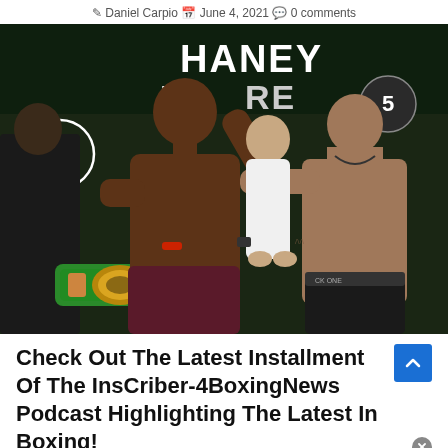Daniel Carpio  June 4, 2021  0 comments
[Figure (photo): Boxing weigh-in photo showing two shirtless boxers facing off: a young Black boxer on the left holding a WBC championship belt and flexing, wearing dark red shorts, and a muscular darker-haired fighter on the right in black shorts. A man in a white t-shirt stands between and behind them. Backdrop reads HANEY vs LINARES or similar. Arena/event backdrop with JD Sports logo visible.]
Check Out The Latest Installment Of The InsCriber-4BoxingNews Podcast Highlighting The Latest In Boxing!